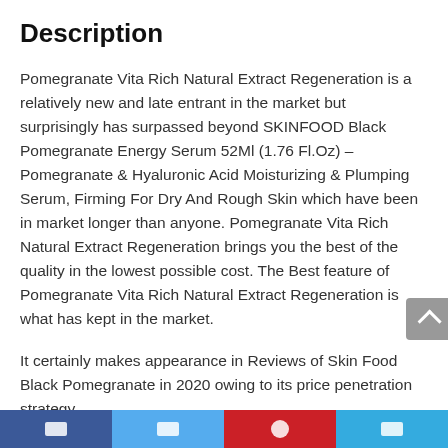Description
Pomegranate Vita Rich Natural Extract Regeneration is a relatively new and late entrant in the market but surprisingly has surpassed beyond SKINFOOD Black Pomegranate Energy Serum 52Ml (1.76 Fl.Oz) – Pomegranate & Hyaluronic Acid Moisturizing & Plumping Serum, Firming For Dry And Rough Skin which have been in market longer than anyone. Pomegranate Vita Rich Natural Extract Regeneration brings you the best of the quality in the lowest possible cost. The Best feature of Pomegranate Vita Rich Natural Extract Regeneration is what has kept in the market.
It certainly makes appearance in Reviews of Skin Food Black Pomegranate in 2020 owing to its price penetration strategy